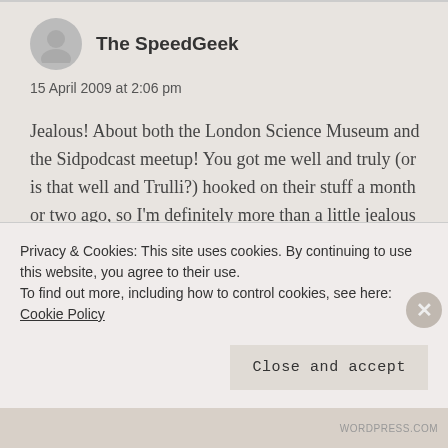The SpeedGeek
15 April 2009 at 2:06 pm
Jealous! About both the London Science Museum and the Sidpodcast meetup! You got me well and truly (or is that well and Trulli?) hooked on their stuff a month or two ago, so I’m definitely more than a little jealous about being able to meet up with a bunch of like-minded F1 fans. I guess I’ll have to settle for the Curt Cavin Burger Book at Indy... Anyway, enjoy!
Privacy & Cookies: This site uses cookies. By continuing to use this website, you agree to their use.
To find out more, including how to control cookies, see here: Cookie Policy
Close and accept